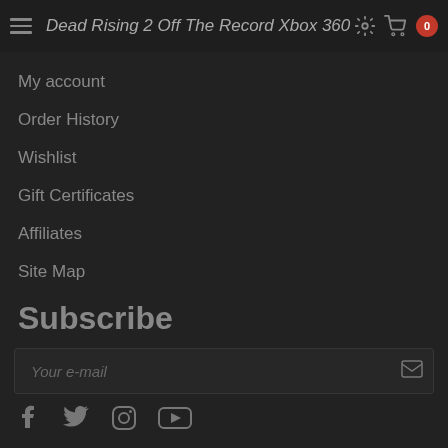Dead Rising 2 Off The Record Xbox 360
My account
Order History
Wishlist
Gift Certificates
Affiliates
Site Map
Subscribe
Your e-mail
[Figure (infographic): Social media icons: Facebook, Twitter, Instagram, YouTube]